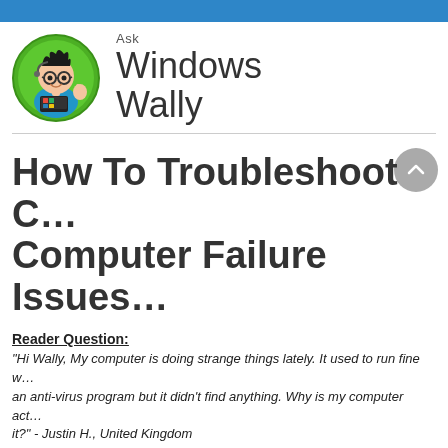[Figure (logo): Ask Windows Wally logo — cartoon character with glasses holding a laptop inside a green circle, next to 'Ask Windows Wally' text]
How To Troubleshoot Computer Failure Issues
Reader Question:
“Hi Wally, My computer is doing strange things lately. It used to run fine w... an anti-virus program but it didn’t find anything. Why is my computer act... it?” - Justin H., United Kingdom
Before addressing any computer issue, I always recommend s...